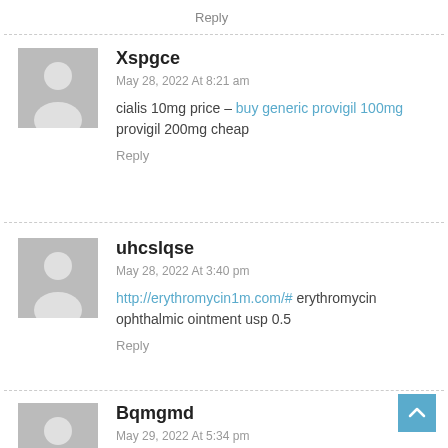Reply
Xspgce
May 28, 2022 At 8:21 am
cialis 10mg price – buy generic provigil 100mg provigil 200mg cheap
Reply
uhcslqse
May 28, 2022 At 3:40 pm
http://erythromycin1m.com/# erythromycin ophthalmic ointment usp 0.5
Reply
Bqmgmd
May 29, 2022 At 5:34 pm